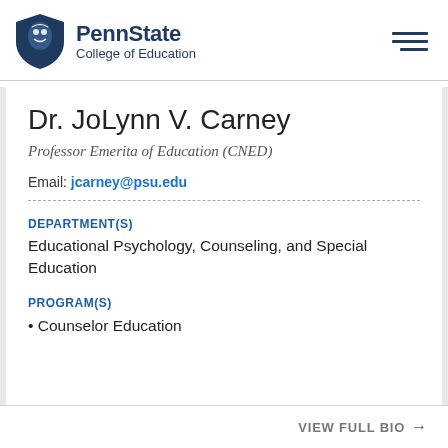PennState College of Education
Dr. JoLynn V. Carney
Professor Emerita of Education (CNED)
Email: jcarney@psu.edu
DEPARTMENT(S)
Educational Psychology, Counseling, and Special Education
PROGRAM(S)
Counselor Education
VIEW FULL BIO →